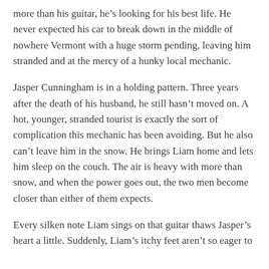more than his guitar, he's looking for his best life. He never expected his car to break down in the middle of nowhere Vermont with a huge storm pending, leaving him stranded and at the mercy of a hunky local mechanic.
Jasper Cunningham is in a holding pattern. Three years after the death of his husband, he still hasn't moved on. A hot, younger, stranded tourist is exactly the sort of complication this mechanic has been avoiding. But he also can't leave him in the snow. He brings Liam home and lets him sleep on the couch. The air is heavy with more than snow, and when the power goes out, the two men become closer than either of them expects.
Every silken note Liam sings on that guitar thaws Jasper's heart a little. Suddenly, Liam's itchy feet aren't so eager to